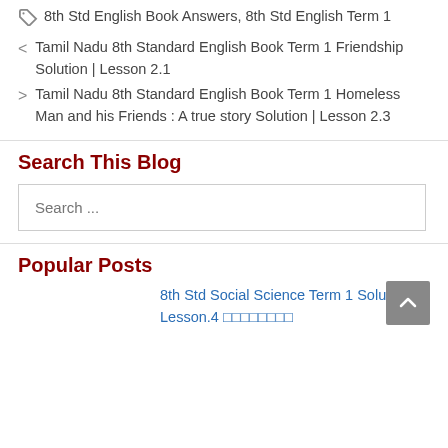🏷 8th Std English Book Answers, 8th Std English Term 1
< Tamil Nadu 8th Standard English Book Term 1 Friendship Solution | Lesson 2.1
> Tamil Nadu 8th Standard English Book Term 1 Homeless Man and his Friends : A true story Solution | Lesson 2.3
Search This Blog
Search ...
Popular Posts
8th Std Social Science Term 1 Solution | Lesson.4 □□□□□□□□